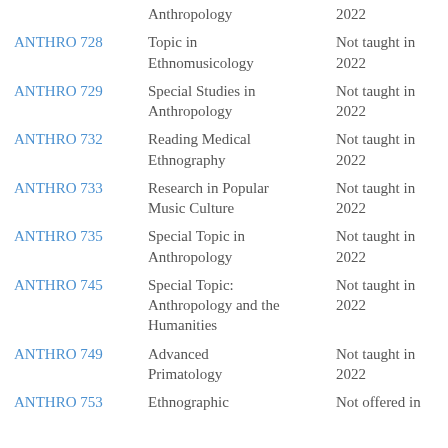| Course | Title | Status |
| --- | --- | --- |
|  | Anthropology | 2022 |
| ANTHRO 728 | Topic in Ethnomusicology | Not taught in 2022 |
| ANTHRO 729 | Special Studies in Anthropology | Not taught in 2022 |
| ANTHRO 732 | Reading Medical Ethnography | Not taught in 2022 |
| ANTHRO 733 | Research in Popular Music Culture | Not taught in 2022 |
| ANTHRO 735 | Special Topic in Anthropology | Not taught in 2022 |
| ANTHRO 745 | Special Topic: Anthropology and the Humanities | Not taught in 2022 |
| ANTHRO 749 | Advanced Primatology | Not taught in 2022 |
| ANTHRO 753 | Ethnographic | Not offered in |